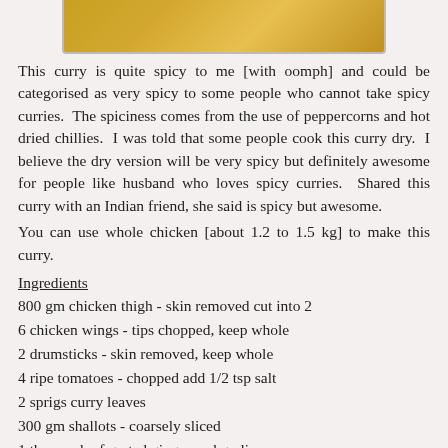[Figure (photo): Partial view of a curry dish, golden/yellow colored food, bottom portion of image visible]
This curry is quite spicy to me [with oomph] and could be categorised as very spicy to some people who cannot take spicy curries.  The spiciness comes from the use of peppercorns and hot dried chillies.  I was told that some people cook this curry dry.  I believe the dry version will be very spicy but definitely awesome for people like husband who loves spicy curries.  Shared this curry with an Indian friend, she said is spicy but awesome.
You can use whole chicken [about 1.2 to 1.5 kg] to make this curry.
Ingredients
800 gm chicken thigh - skin removed cut into 2
6 chicken wings - tips chopped, keep whole
2 drumsticks - skin removed, keep whole
4 ripe tomatoes - chopped add 1/2 tsp salt
2 sprigs curry leaves
300 gm shallots - coarsely sliced
1 tbsp each of grated ginger and garlic